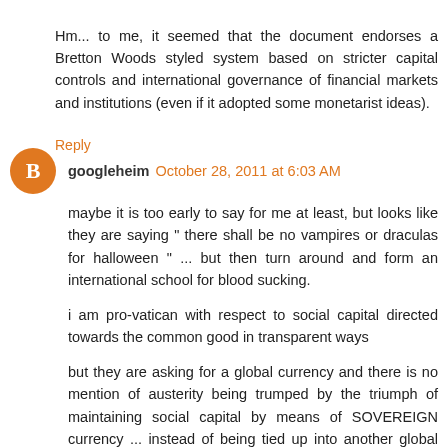Hm... to me, it seemed that the document endorses a Bretton Woods styled system based on stricter capital controls and international governance of financial markets and institutions (even if it adopted some monetarist ideas).
Reply
googleheim October 28, 2011 at 6:03 AM
maybe it is too early to say for me at least, but looks like they are saying " there shall be no vampires or draculas for halloween " ... but then turn around and form an international school for blood sucking.
i am pro-vatican with respect to social capital directed towards the common good in transparent ways
but they are asking for a global currency and there is no mention of austerity being trumped by the triumph of maintaining social capital by means of SOVEREIGN currency ... instead of being tied up into another global institution